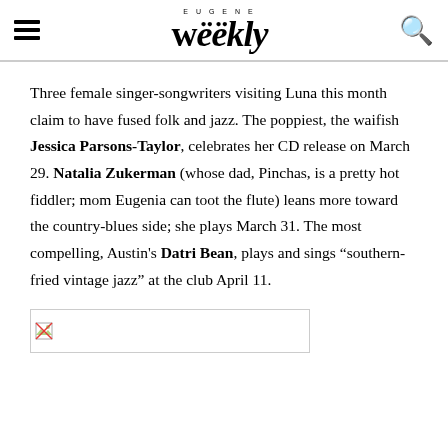EUGENE Weekly
Three female singer-songwriters visiting Luna this month claim to have fused folk and jazz. The poppiest, the waifish Jessica Parsons-Taylor, celebrates her CD release on March 29. Natalia Zukerman (whose dad, Pinchas, is a pretty hot fiddler; mom Eugenia can toot the flute) leans more toward the country-blues side; she plays March 31. The most compelling, Austin's Datri Bean, plays and sings “southern-fried vintage jazz” at the club April 11.
[Figure (photo): Image placeholder with broken image icon]